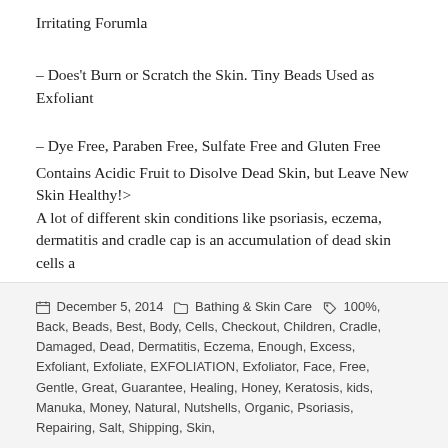Irritating Forumla
– Does't Burn or Scratch the Skin. Tiny Beads Used as Exfoliant
– Dye Free, Paraben Free, Sulfate Free and Gluten Free
Contains Acidic Fruit to Disolve Dead Skin, but Leave New Skin Healthy!>
A lot of different skin conditions like psoriasis, eczema, dermatitis and cradle cap is an accumulation of dead skin cells a
December 5, 2014  Bathing & Skin Care  100%, Back, Beads, Best, Body, Cells, Checkout, Children, Cradle, Damaged, Dead, Dermatitis, Eczema, Enough, Excess, Exfoliant, Exfoliate, EXFOLIATION, Exfoliator, Face, Free, Gentle, Great, Guarantee, Healing, Honey, Keratosis, kids, Manuka, Money, Natural, Nutshells, Organic, Psoriasis, Repairing, Salt, Shipping, Skin,